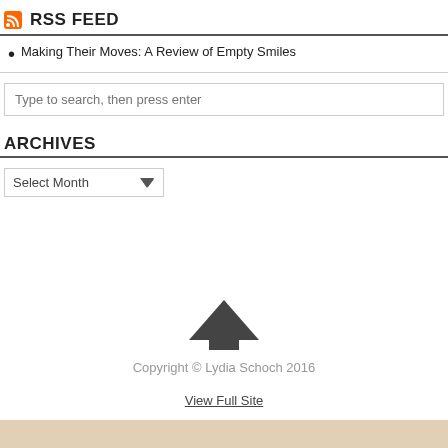RSS FEED
Making Their Moves: A Review of Empty Smiles
Type to search, then press enter
ARCHIVES
Select Month
[Figure (illustration): Up arrow chevron icon in dark grey]
Copyright © Lydia Schoch 2016
View Full Site